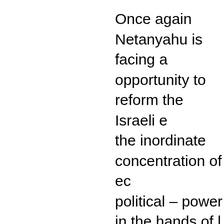Once again Netanyahu is facing a opportunity to reform the Israeli e the inordinate concentration of ec political – power in the hands of l families. They control the huge py corporations that dominate the Isr representing about half the value assets! Such a great concentration enab corporations to wield monopoly p monopolies choke competition ar generated by it. Low efficiency is low productivity of the Israeli work the American, and of his low earn Monopolies inflate prices and exa "monopoly rent" on everything we estimated at about a third of what earns. The low earning strata tha income to consumption suffer mo reason why so many working l...